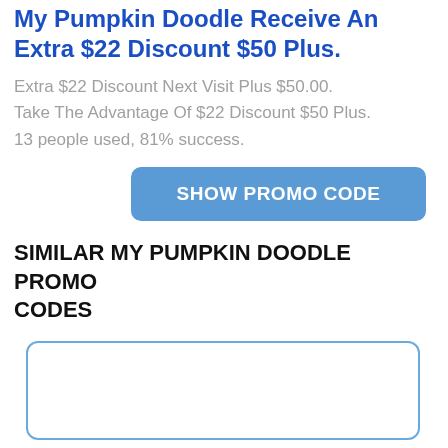My Pumpkin Doodle Receive An Extra $22 Discount $50 Plus.
Extra $22 Discount Next Visit Plus $50.00.
Take The Advantage Of $22 Discount $50 Plus.
13 people used, 81% success.
[Figure (other): Blue rounded button labeled SHOW PROMO CODE]
SIMILAR MY PUMPKIN DOODLE PROMO CODES
[Figure (other): Empty white card with blue rounded border]